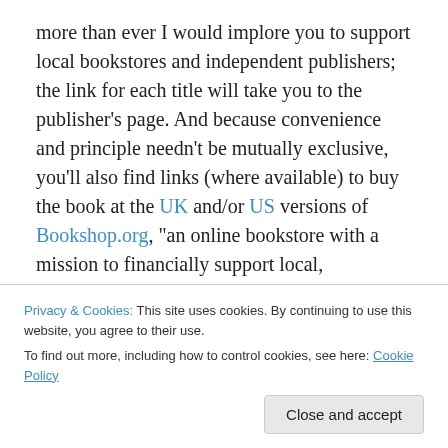more than ever I would implore you to support local bookstores and independent publishers; the link for each title will take you to the publisher's page. And because convenience and principle needn't be mutually exclusive, you'll also find links (where available) to buy the book at the UK and/or US versions of Bookshop.org, "an online bookstore with a mission to financially support local, independent bookstores". Bookshop is still in beta and comes with an unfussy layout  – perhaps a little too unfussy; an option to sort or filter by date, name and other criteria would be welcome. But why don't we, collectively
Privacy & Cookies: This site uses cookies. By continuing to use this website, you agree to their use.
To find out more, including how to control cookies, see here: Cookie Policy
Close and accept